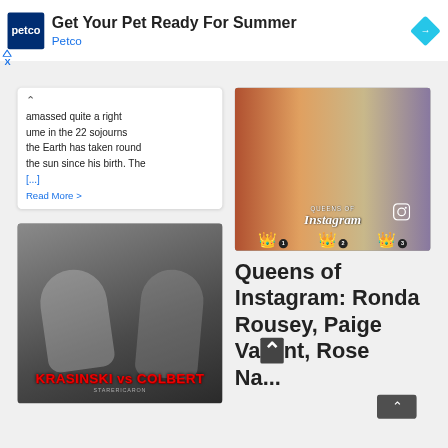[Figure (screenshot): Petco advertisement banner with blue Petco logo, headline 'Get Your Pet Ready For Summer', subtext 'Petco', and a blue navigation/arrow diamond icon on the right. Ad indicator icons (triangle play and X) on far left below the banner.]
amassed quite a right ume in the 22 sojourns the Earth has taken round the sun since his birth. The [...]
Read More >
[Figure (photo): Photo showing two men grappling/wrestling in what appears to be an office or hallway, with text overlay 'KRASINSKI vs COLBERT' in red stylized font at the bottom.]
[Figure (photo): Composite image of three women (Queens of Instagram) with crown emoji icons numbered 1, 2, 3 and Instagram logo overlay reading 'QUEENS OF Instagram']
Queens of Instagram: Ronda Rousey, Paige VanZant, Rose Na...